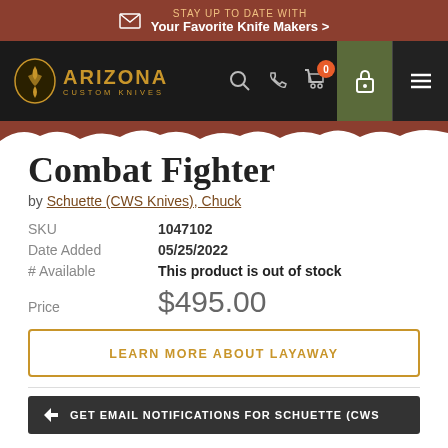STAY UP TO DATE WITH Your Favorite Knife Makers >
[Figure (screenshot): Arizona Custom Knives website navigation bar with logo, search, phone, cart (0 items), lock and menu icons]
Combat Fighter
by Schuette (CWS Knives), Chuck
| Field | Value |
| --- | --- |
| SKU | 1047102 |
| Date Added | 05/25/2022 |
| # Available | This product is out of stock |
| Price | $495.00 |
LEARN MORE ABOUT LAYAWAY
GET EMAIL NOTIFICATIONS FOR SCHUETTE (CWS